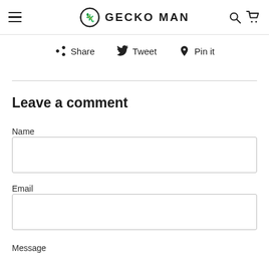GECKO MAN
Share   Tweet   Pin it
Leave a comment
Name
Email
Message